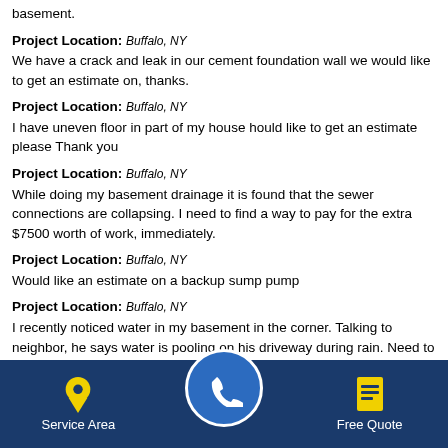basement.
Project Location: Buffalo, NY
We have a crack and leak in our cement foundation wall we would like to get an estimate on, thanks.
Project Location: Buffalo, NY
I have uneven floor in part of my house hould like to get an estimate please Thank you
Project Location: Buffalo, NY
While doing my basement drainage it is found that the sewer connections are collapsing. I need to find a way to pay for the extra $7500 worth of work, immediately.
Project Location: Buffalo, NY
Would like an estimate on a backup sump pump
Project Location: Buffalo, NY
I recently noticed water in my basement in the corner. Talking to neighbor, he says water is pooling on his driveway during rain. Need to investigate issue and address drainage.
Project Location: Buffalo, NY
Basement waterproof estimate
Project Location: Buffalo, NY
I have moisture in basement.
Service Area | [phone] | Free Quote